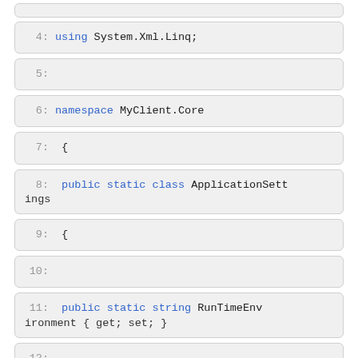4:   using System.Xml.Linq;
5:
6:   namespace MyClient.Core
7:   {
8:       public static class ApplicationSettings
9:       {
10:
11:           public static string RunTimeEnvironment { get; set; }
12:
13: